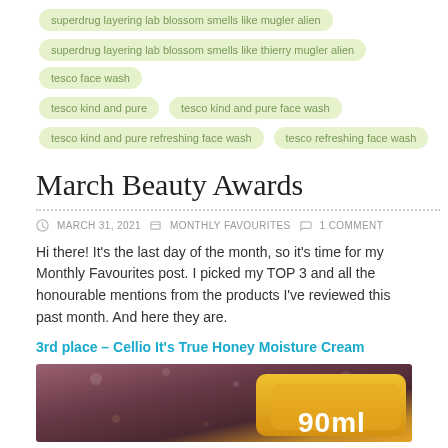superdrug layering lab blossom smells like mugler alien
superdrug layering lab blossom smells like thierry mugler alien
tesco face wash
tesco kind and pure
tesco kind and pure face wash
tesco kind and pure refreshing face wash
tesco refreshing face wash
March Beauty Awards
MARCH 31, 2021   MONTHLY FAVOURITES   1 COMMENT
Hi there! It's the last day of the month, so it's time for my Monthly Favourites post. I picked my TOP 3 and all the honourable mentions from the products I've reviewed this past month. And here they are.
3rd place – Cellio It's True Honey Moisture Cream
[Figure (photo): Close-up photo of a yellow Cellio It's True Honey Moisture Cream product container showing '90ml' text, with dark blurred background]